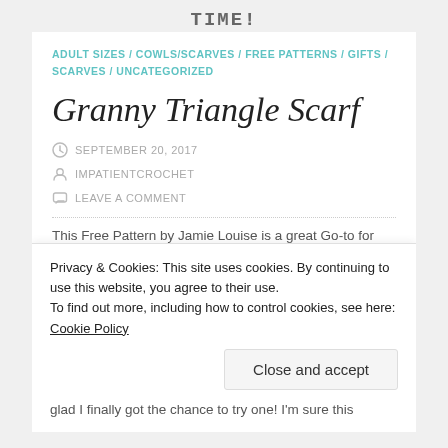TIME!
ADULT SIZES / COWLS/SCARVES / FREE PATTERNS / GIFTS / SCARVES / UNCATEGORIZED
Granny Triangle Scarf
SEPTEMBER 20, 2017
IMPATIENTCROCHET
LEAVE A COMMENT
This Free Pattern by Jamie Louise is a great Go-to for
Privacy & Cookies: This site uses cookies. By continuing to use this website, you agree to their use.
To find out more, including how to control cookies, see here: Cookie Policy
Close and accept
glad I finally got the chance to try one! I'm sure this